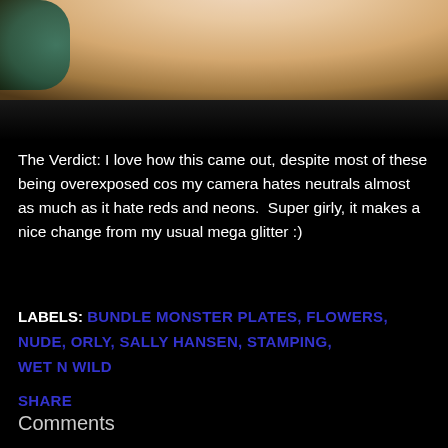[Figure (photo): Close-up photo of fingers/hand against a dark background with teal element visible in bottom left corner]
The Verdict: I love how this came out, despite most of these being overexposed cos my camera hates neutrals almost as much as it hate reds and neons.  Super girly, it makes a nice change from my usual mega glitter :)
LABELS: BUNDLE MONSTER PLATES, FLOWERS, NUDE, ORLY, SALLY HANSEN, STAMPING, WET N WILD
SHARE
Comments
Anonymous · March 31, 2012 at 1:24 PM